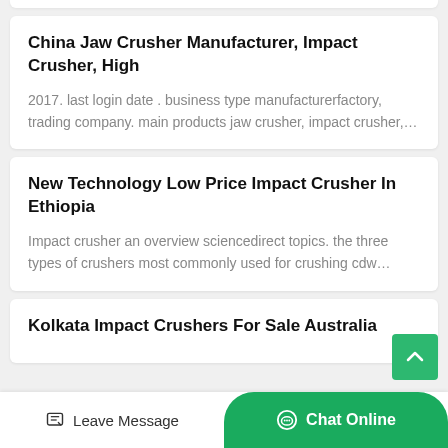China Jaw Crusher Manufacturer, Impact Crusher, High
2017. last login date . business type manufacturerfactory, trading company. main products jaw crusher, impact crusher,…
New Technology Low Price Impact Crusher In Ethiopia
Impact crusher an overview sciencedirect topics. the three types of crushers most commonly used for crushing cdw…
Kolkata Impact Crushers For Sale Australia
Leave Message
Chat Online